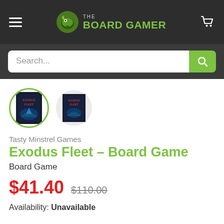THE BOARD GAMER — navigation header with hamburger menu, logo, and cart icon
Search...
[Figure (screenshot): Two product thumbnail images of Exodus Fleet board game box. First thumbnail has a green circular border indicating selection.]
Tasty Minstrel Games
Exodus Fleet – Board Game
Board Game
$41.40  $110.00
Availability: Unavailable